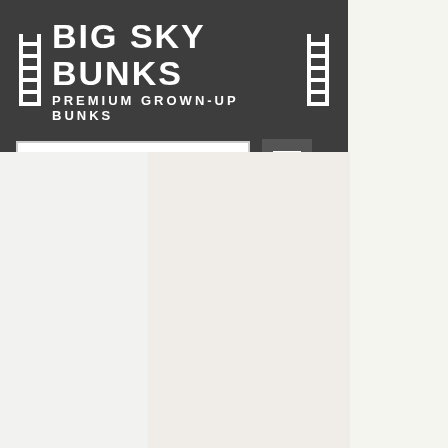[Figure (logo): Big Sky Bunks logo with ladder icons on both sides, text BIG SKY BUNKS in large bold white letters and PREMIUM GROWN-UP BUNKS subtitle beneath, on dark gray background]
CLICK HERE TO CALL